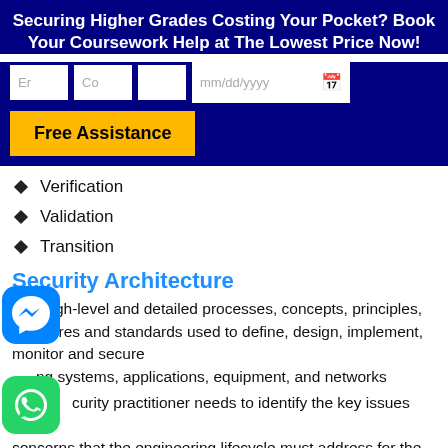Securing Higher Grades Costing Your Pocket? Book Your Coursework Help at The Lowest Price Now!
[Figure (infographic): Web form with input fields (Em, Co, blank, mm/dd/yyyy date picker) and a yellow Free Assistance button on a dark navy background]
Verification
Validation
Transition
Security Architecture
High-level and detailed processes, concepts, principles, structures and standards used to define, design, implement, monitor and secure ng systems, applications, equipment, and networks
curity practitioner needs to identify the key issues and concerns that the engineering lifecycle must address for the enterprise
e these issues are agreed upon by the stakeholders, security design principles can be used by the architect to ensure that all
[Figure (logo): Facebook Messenger app icon (blue rounded square with white lightning bolt)]
[Figure (logo): WhatsApp app icon (green rounded square with white phone handset)]